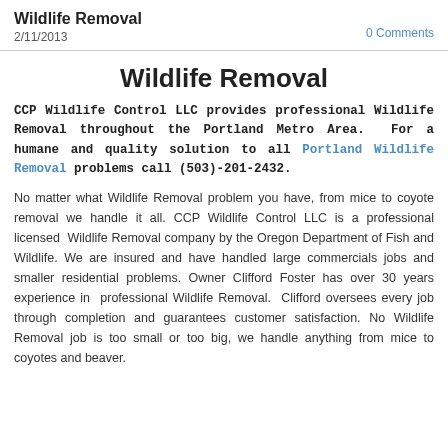Wildlife Removal
2/11/2013
0 Comments
Wildlife Removal
CCP Wildlife Control LLC provides professional Wildlife Removal throughout the Portland Metro Area. For a humane and quality solution to all Portland Wildlife Removal problems call (503)-201-2432.
No matter what Wildlife Removal problem you have, from mice to coyote removal we handle it all. CCP Wildlife Control LLC is a professional licensed Wildlife Removal company by the Oregon Department of Fish and Wildlife. We are insured and have handled large commercials jobs and smaller residential problems. Owner Clifford Foster has over 30 years experience in professional Wildlife Removal. Clifford oversees every job through completion and guarantees customer satisfaction. No Wildlife Removal job is too small or too big, we handle anything from mice to coyotes and beaver.